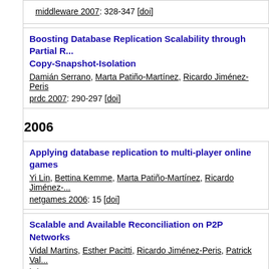middleware 2007: 328-347 [doi]
Boosting Database Replication Scalability through Partial R... Copy-Snapshot-Isolation
Damián Serrano, Marta Patiño-Martínez, Ricardo Jiménez-Peris
prdc 2007: 290-297 [doi]
2006
Applying database replication to multi-player online games
Yi Lin, Bettina Kemme, Marta Patiño-Martínez, Ricardo Jiménez-...
netgames 2006: 15 [doi]
Scalable and Available Reconciliation on P2P Networks
Vidal Martins, Esther Pacitti, Ricardo Jiménez-Peris, Patrick Val...
bda 2006:
Highly Available Long Running Transactions and Activities